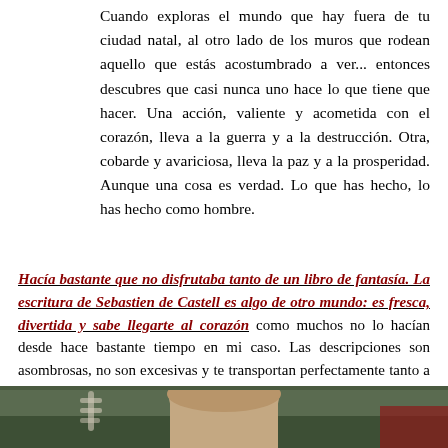Cuando exploras el mundo que hay fuera de tu ciudad natal, al otro lado de los muros que rodean aquello que estás acostumbrado a ver... entonces descubres que casi nunca uno hace lo que tiene que hacer. Una acción, valiente y acometida con el corazón, lleva a la guerra y a la destrucción. Otra, cobarde y avariciosa, lleva la paz y a la prosperidad. Aunque una cosa es verdad. Lo que has hecho, lo has hecho como hombre.
Hacía bastante que no disfrutaba tanto de un libro de fantasía. La escritura de Sebastien de Castell es algo de otro mundo: es fresca, divertida y sabe llegarte al corazón como muchos no lo hacían desde hace bastante tiempo en mi caso. Las descripciones son asombrosas, no son excesivas y te transportan perfectamente tanto a la locación como a la época a la que intenta adentrarnos el autor. Francamente, me pongo de pie ante ellos.
[Figure (photo): Bottom strip showing a person's head/hair against a green background, partially visible]